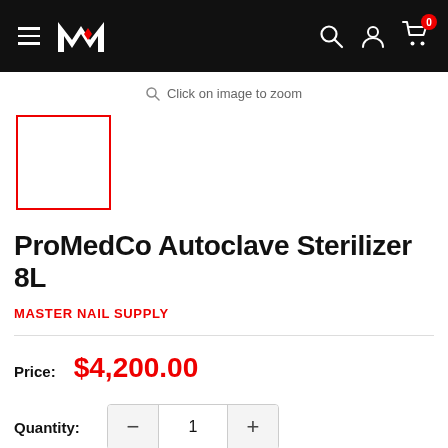Master Nail Supply — navigation header with logo, search, account, and cart icons
Click on image to zoom
[Figure (photo): Thumbnail placeholder box with red border for product image]
ProMedCo Autoclave Sterilizer 8L
MASTER NAIL SUPPLY
Price: $4,200.00
Quantity: 1